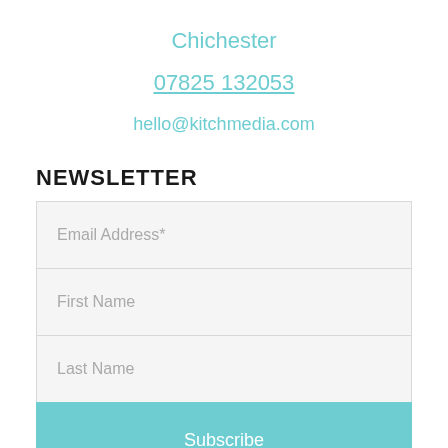Chichester
07825 132053
hello@kitchmedia.com
NEWSLETTER
[Figure (screenshot): Newsletter signup form with fields for Email Address*, First Name, Last Name, and a Subscribe button]